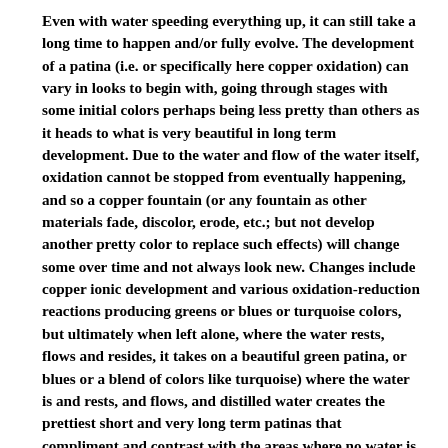Even with water speeding everything up, it can still take a long time to happen and/or fully evolve. The development of a patina (i.e. or specifically here copper oxidation) can vary in looks to begin with, going through stages with some initial colors perhaps being less pretty than others as it heads to what is very beautiful in long term development. Due to the water and flow of the water itself, oxidation cannot be stopped from eventually happening, and so a copper fountain (or any fountain as other materials fade, discolor, erode, etc.; but not develop another pretty color to replace such effects) will change some over time and not always look new. Changes include copper ionic development and various oxidation-reduction reactions producing greens or blues or turquoise colors, but ultimately when left alone, where the water rests, flows and resides, it takes on a beautiful green patina, or blues or a blend of colors like turquoise) where the water is and rests, and flows, and distilled water creates the prettiest short and very long term patinas that compliment and contrast with the areas where no water is on the fountain, that retain a lot of the original warm orange tones.